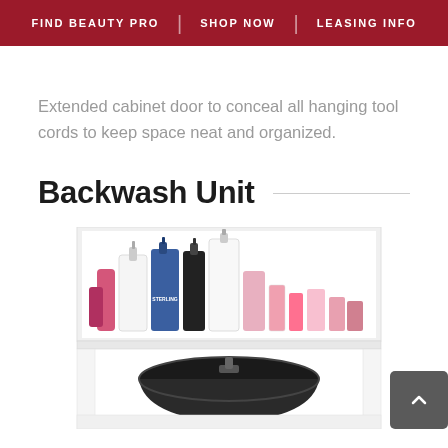FIND BEAUTY PRO | SHOP NOW | LEASING INFO
Extended cabinet door to conceal all hanging tool cords to keep space neat and organized.
Backwash Unit
[Figure (photo): A backwash unit showing a shelf with hair salon product bottles (shampoo, conditioner, styling products) above a black shampoo bowl sink mounted on a white cabinet.]